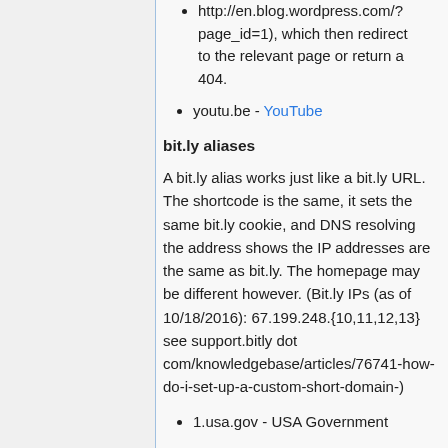http://en.blog.wordpress.com/?page_id=1), which then redirect to the relevant page or return a 404.
youtu.be - YouTube
bit.ly aliases
A bit.ly alias works just like a bit.ly URL. The shortcode is the same, it sets the same bit.ly cookie, and DNS resolving the address shows the IP addresses are the same as bit.ly. The homepage may be different however. (Bit.ly IPs (as of 10/18/2016): 67.199.248.{10,11,12,13} see support.bitly dot com/knowledgebase/articles/76741-how-do-i-set-up-a-custom-short-domain-)
1.usa.gov - USA Government
20SS.NYC
360myte.ch -